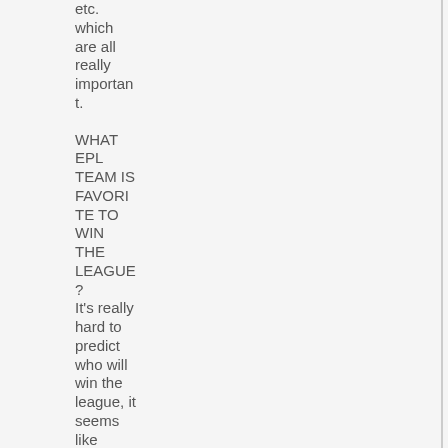etc. which are all really important.
WHAT EPL TEAM IS FAVORITE TO WIN THE LEAGUE?
It's really hard to predict who will win the league, it seems like every year a different team wins, so for now I